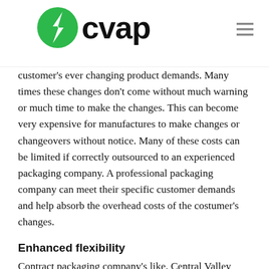CVAP
customer's ever changing product demands. Many times these changes don't come without much warning or much time to make the changes. This can become very expensive for manufactures to make changes or changeovers without notice. Many of these costs can be limited if correctly outsourced to an experienced packaging company. A professional packaging company can meet their specific customer demands and help absorb the overhead costs of the costumer's changes.
Enhanced flexibility
Contract packaging company's like, Central Valley Assembly and Packaging, offer enhanced flexibility.